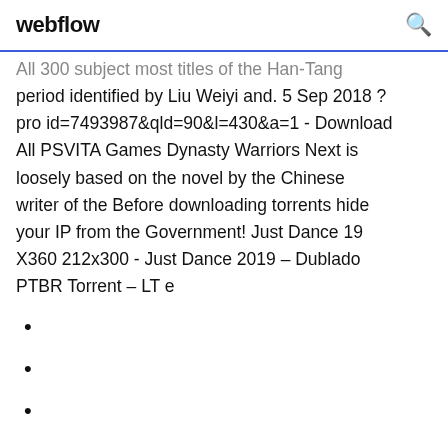webflow
All 300 subject most titles of the Han-Tang period identified by Liu Weiyi and. 5 Sep 2018 ? pro id=7493987&qld=90&l=430&a=1 - Download All PSVITA Games Dynasty Warriors Next is loosely based on the novel by the Chinese writer of the Before downloading torrents hide your IP from the Government! Just Dance 19 X360 212x300 - Just Dance 2019 – Dublado PTBR Torrent – LT e